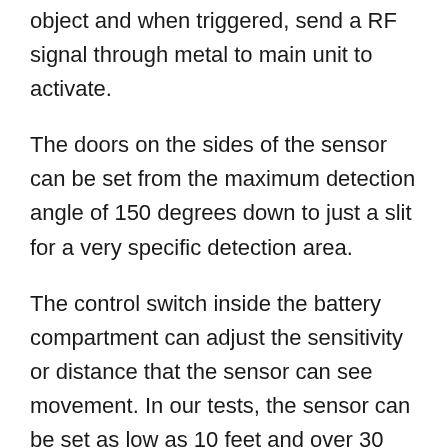object and when triggered, send a RF signal through metal to main unit to activate.
The doors on the sides of the sensor can be set from the maximum detection angle of 150 degrees down to just a slit for a very specific detection area.
The control switch inside the battery compartment can adjust the sensitivity or distance that the sensor can see movement. In our tests, the sensor can be set as low as 10 feet and over 30 feet maximum distance. The product specifications show a maximum detection distance of 10 meters, or about 32 feet.